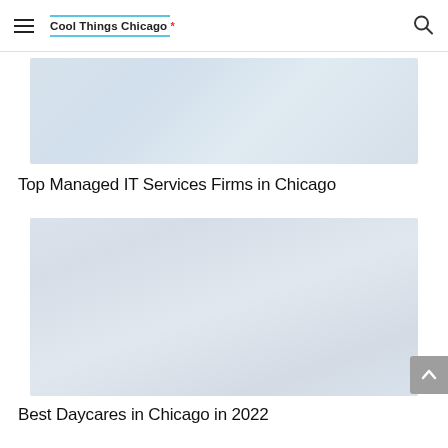Cool Things Chicago *
[Figure (photo): Faded/washed-out photo related to managed IT services, appears to show an office or building interior]
Top Managed IT Services Firms in Chicago
[Figure (photo): Faded/washed-out photo related to best daycares in Chicago, appears to show children or people]
Best Daycares in Chicago in 2022